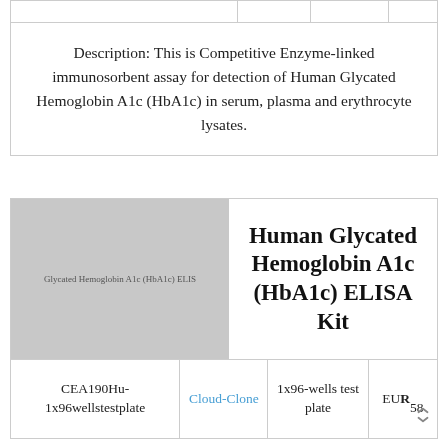Description: This is Competitive Enzyme-linked immunosorbent assay for detection of Human Glycated Hemoglobin A1c (HbA1c) in serum, plasma and erythrocyte lysates.
[Figure (photo): Gray placeholder image of the ELISA kit product with text 'Glycated Hemoglobin A1c (HbA1c) ELIS']
Human Glycated Hemoglobin A1c (HbA1c) ELISA Kit
|  |  | 1x96-wells test plate | EUR 58 |
| --- | --- | --- | --- |
| CEA190Hu-1x96wellstestplate | Cloud-Clone | 1x96-wells test plate | EUR 58 |